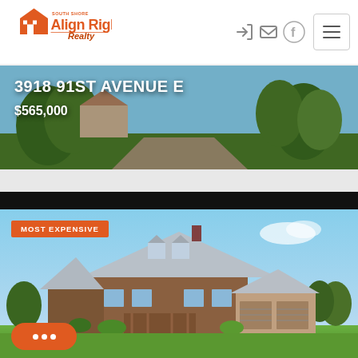[Figure (logo): Align Right Realty South Shore logo - orange house icon with text]
[Figure (photo): Property hero banner showing landscaped driveway and green lawn at 3918 91st Avenue E]
3918 91ST AVENUE E
$565,000
[Figure (photo): Most expensive property listing card showing a large country home with metal roof and attached garage]
MOST EXPENSIVE